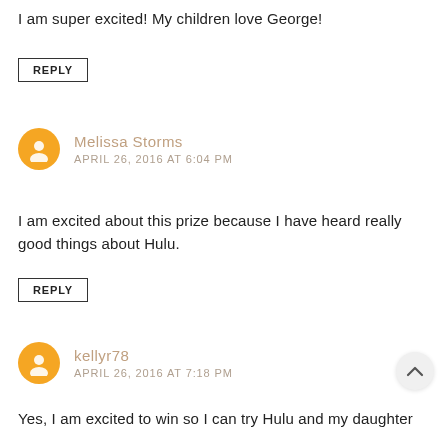I am super excited! My children love George!
REPLY
Melissa Storms
APRIL 26, 2016 AT 6:04 PM
I am excited about this prize because I have heard really good things about Hulu.
REPLY
kellyr78
APRIL 26, 2016 AT 7:18 PM
Yes, I am excited to win so I can try Hulu and my daughter